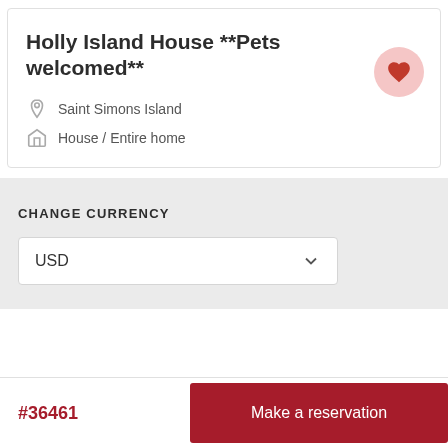Holly Island House **Pets welcomed**
Saint Simons Island
House / Entire home
CHANGE CURRENCY
USD
#36461
Make a reservation